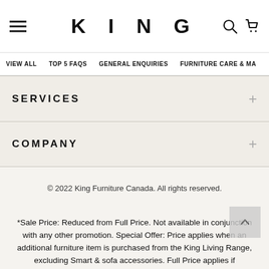KING
VIEW ALL | TOP 5 FAQS | GENERAL ENQUIRIES | FURNITURE CARE & MA
SERVICES
COMPANY
© 2022 King Furniture Canada. All rights reserved.
*Sale Price: Reduced from Full Price. Not available in conjunction with any other promotion. Special Offer: Price applies when an additional furniture item is purchased from the King Living Range, excluding Smart & sofa accessories. Full Price applies if purchased separately. Package Offer: Total Value is based